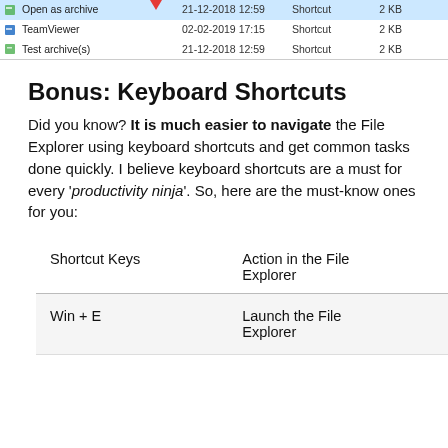[Figure (screenshot): File Explorer context menu screenshot showing three file entries: 'Open as archive' (highlighted in blue with red arrow pointing to it, 21-12-2018 12:59, Shortcut, 2 KB), 'TeamViewer' (02-02-2019 17:15, Shortcut, 2 KB), 'Test archive(s)' (21-12-2018 12:59, Shortcut, 2 KB)]
Bonus: Keyboard Shortcuts
Did you know? It is much easier to navigate the File Explorer using keyboard shortcuts and get common tasks done quickly. I believe keyboard shortcuts are a must for every 'productivity ninja'. So, here are the must-know ones for you:
| Shortcut Keys | Action in the File Explorer |
| --- | --- |
| Win + E | Launch the File Explorer |